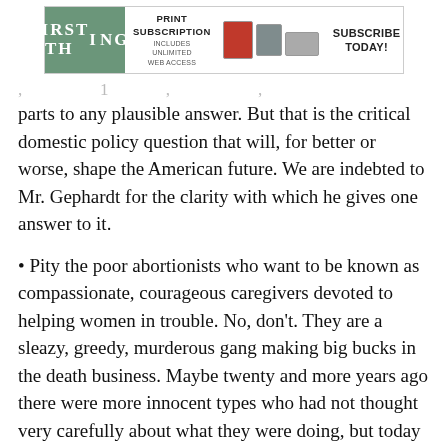[Figure (other): First Things magazine advertisement banner with logo, 'PRINT SUBSCRIPTION INCLUDES UNLIMITED WEB ACCESS', device images, and 'SUBSCRIBE TODAY!' text]
parts to any plausible answer. But that is the critical domestic policy question that will, for better or worse, shape the American future. We are indebted to Mr. Gephardt for the clarity with which he gives one answer to it.
• Pity the poor abortionists who want to be known as compassionate, courageous caregivers devoted to helping women in trouble. No, don't. They are a sleazy, greedy, murderous gang making big bucks in the death business. Maybe twenty and more years ago there were more innocent types who had not thought very carefully about what they were doing, but today that is most improbable. Howard J. Silverman of